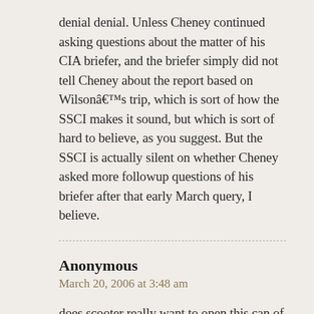denial denial. Unless Cheney continued asking questions about the matter of his CIA briefer, and the briefer simply did not tell Cheney about the report based on Wilson’s trip, which is sort of how the SSCI makes it sound, but which is sort of hard to believe, as you suggest. But the SSCI is actually silent on whether Cheney asked more followup questions of his briefer after that early March query, I believe.
Anonymous
March 20, 2006 at 3:48 am
does scooter really want to open this can of worms